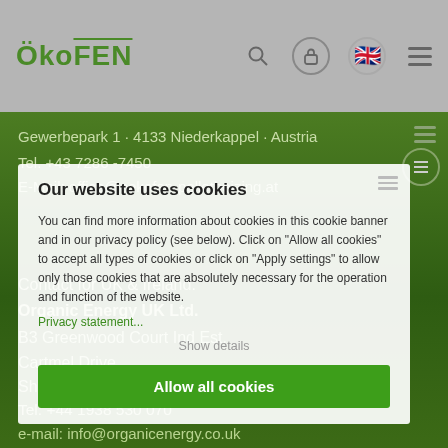ÖkoFEN
Gewerbepark 1 · 4133 Niederkappel · Austria
Tel. +43 7286 -7450
E-Mail: office@oekofen-pelletheizing.at
Contact for UK & Ireland:
Organic Energy UK Ltd.
B3 Greenwood Court Ind Est.
Cartmel Drive
Shrewsbury SY1 3TB UK
Tel: +44 1938 530 070
e-mail: info@organicenergy.co.uk
wood pellet boiler
Pellematic Condens (10-32 kW)
Our website uses cookies
You can find more information about cookies in this cookie banner and in our privacy policy (see below). Click on "Allow all cookies" to accept all types of cookies or click on "Apply settings" to allow only those cookies that are absolutely necessary for the operation and function of the website.
Privacy statement...
Show details
Allow all cookies